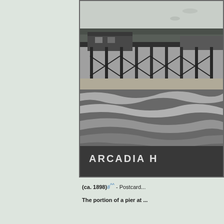[Figure (photo): Black and white historical photograph of a pier (Arcadia Hotel pier) taken circa 1898. Shows the wooden pier structure extending over water with a building on the pier deck, trees in background, and ocean waves in the foreground. Text 'ARCADIA H' visible at bottom of photo.]
(ca. 1898)#^^ - Postcard...
The portion of a pier at ...